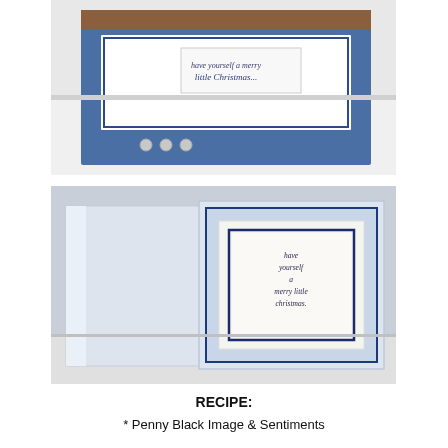[Figure (photo): Top photo showing a handmade Christmas card with blue and brown layered design, script text reading 'have yourself a merry little Christmas', and small silver embellishments on a white surface.]
[Figure (photo): Bottom photo showing the inside of an open handmade card. The card is light blue with a white/cream matted panel containing a navy blue bordered inner frame with handwritten-style stamped text reading 'have yourself a merry little christmas'.]
RECIPE:
* Penny Black Image & Sentiments